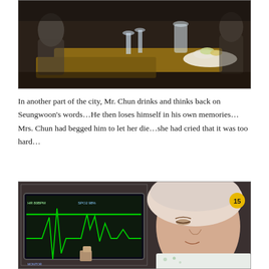[Figure (photo): Screenshot from a TV drama showing a restaurant/bar interior scene with tables, chairs, glasses and a fruit plate visible in dim lighting]
In another part of the city, Mr. Chun drinks and thinks back on Seungwoon’s words…He then loses himself in his own memories…Mrs. Chun had begged him to let her die…she had cried that it was too hard…
[Figure (photo): Screenshot from a TV drama showing a woman wearing a hospital head covering lying in a hospital bed with a medical monitor displaying EKG waveforms in the background. A yellow circle badge with number 15 is visible in the upper right corner.]